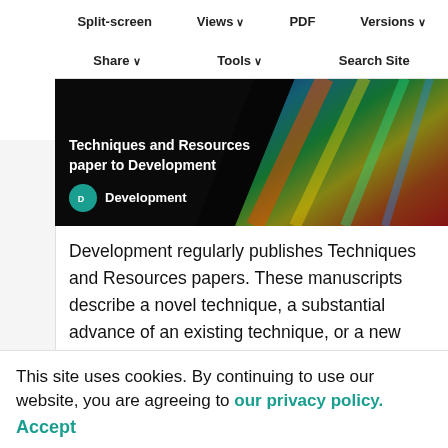Techniques and Resources paper to Development
Split-screen  Views  PDF  Versions
Share  Tools  Search Site
[Figure (photo): Dark banner image with text 'Techniques and Resources paper to Development' and Development journal logo, featuring colorful scientific imaging on black background]
Development regularly publishes Techniques and Resources papers. These manuscripts describe a novel technique, a substantial advance of an existing technique, or a new resource that will have a significant impact on developmental biology
This site uses cookies. By continuing to use our website, you are agreeing to our privacy policy. Accept